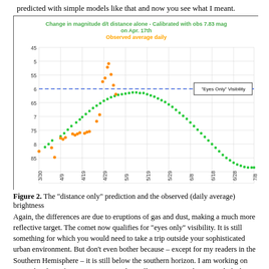predicted with simple models like that and now you see what I meant.
[Figure (scatter-plot): Scatter/dot plot showing predicted (green dots, bell curve shape) and observed daily average (orange dots) comet brightness magnitude over time from 3/30 to 7/8. Y-axis shows magnitude from 4.5 to 8.5 (inverted). A horizontal blue dashed line at magnitude 6 is labeled 'Eyes Only' Visibility. Green dots form a smooth curve peaking near 6.3 around 5/19. Orange dots show observed values, some much brighter than predicted around 4/29.]
Figure 2.  The "distance only" prediction and the observed (daily average) brightness
Again, the differences are due to eruptions of gas and dust, making a much more reflective target.  The comet now qualifies for "eyes only" visibility.  It is still something for which you would need to take a trip outside your sophisticated urban environment.  But don't even bother because – except for my readers in the Southern Hemisphere – it is still below the southern horizon.  I am working on some sky charts for Lima, Peru. But that still requires a road trip to a dark sky.